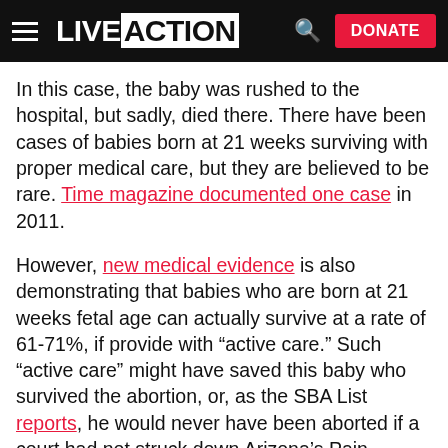LIVE ACTION | DONATE
In this case, the baby was rushed to the hospital, but sadly, died there. There have been cases of babies born at 21 weeks surviving with proper medical care, but they are believed to be rare. Time magazine documented one case in 2011.
However, new medical evidence is also demonstrating that babies who are born at 21 weeks fetal age can actually survive at a rate of 61-71%, if provide with “active care.” Such “active care” might have saved this baby who survived the abortion, or, as the SBA List reports, he would never have been aborted if a court had not struck down Arizona’s Pain-Capable legislation: